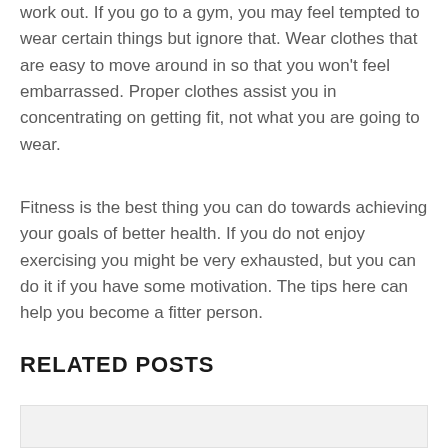work out. If you go to a gym, you may feel tempted to wear certain things but ignore that. Wear clothes that are easy to move around in so that you won't feel embarrassed. Proper clothes assist you in concentrating on getting fit, not what you are going to wear.
Fitness is the best thing you can do towards achieving your goals of better health. If you do not enjoy exercising you might be very exhausted, but you can do it if you have some motivation. The tips here can help you become a fitter person.
RELATED POSTS